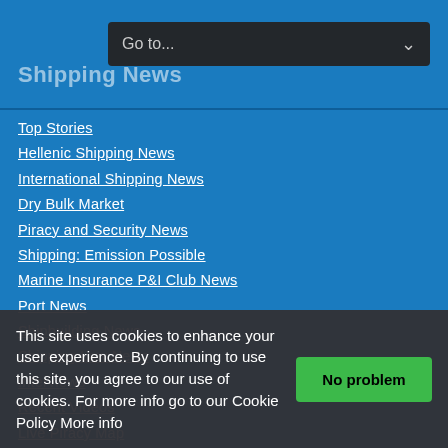Shipping News
Top Stories
Hellenic Shipping News
International Shipping News
Dry Bulk Market
Piracy and Security News
Shipping: Emission Possible
Marine Insurance P&I Club News
Port News
Shipbuilding News
Shipping Law News
Interviews
Recent Videos
Live Piracy Map
Live Ships Worldwide Traffic Map
Real Time Marine Weather
DNV GL Maritime Academy Hellas
Events and Training Courses
This site uses cookies to enhance your user experience. By continuing to use this site, you agree to our use of cookies. For more info go to our Cookie Policy More info